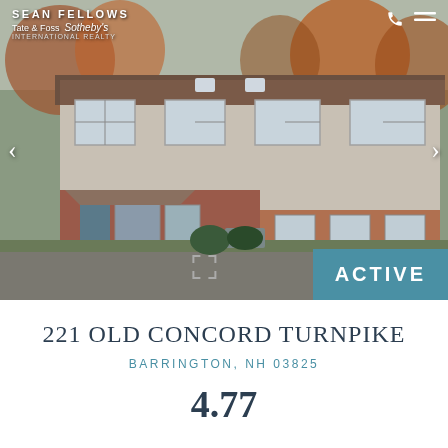[Figure (photo): Exterior photo of a multi-unit brick and siding townhouse/commercial building with brown roof, multiple windows, parking lot in foreground, autumn trees in background. Navigation arrows on left and right sides. Header shows Sean Fellows, Tate & Foss Sotheby's International Realty branding. ACTIVE status badge in lower right corner.]
221 OLD CONCORD TURNPIKE
BARRINGTON, NH 03825
4.77